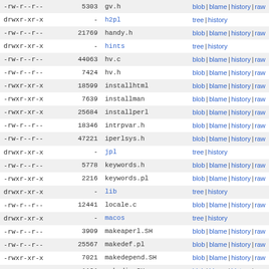| permissions | size | name | actions |
| --- | --- | --- | --- |
| -rw-r--r-- | 5303 | gv.h | blob | blame | history | raw |
| drwxr-xr-x | - | h2pl | tree | history |
| -rw-r--r-- | 21769 | handy.h | blob | blame | history | raw |
| drwxr-xr-x | - | hints | tree | history |
| -rw-r--r-- | 44063 | hv.c | blob | blame | history | raw |
| -rw-r--r-- | 7424 | hv.h | blob | blame | history | raw |
| -rwxr-xr-x | 18599 | installhtml | blob | blame | history | raw |
| -rwxr-xr-x | 7639 | installman | blob | blame | history | raw |
| -rwxr-xr-x | 25684 | installperl | blob | blame | history | raw |
| -rw-r--r-- | 18346 | intrpvar.h | blob | blame | history | raw |
| -rw-r--r-- | 47221 | iperlsys.h | blob | blame | history | raw |
| drwxr-xr-x | - | jpl | tree | history |
| -rw-r--r-- | 5778 | keywords.h | blob | blame | history | raw |
| -rwxr-xr-x | 2216 | keywords.pl | blob | blame | history | raw |
| drwxr-xr-x | - | lib | tree | history |
| -rw-r--r-- | 12441 | locale.c | blob | blame | history | raw |
| drwxr-xr-x | - | macos | tree | history |
| -rw-r--r-- | 3909 | makeaperl.SH | blob | blame | history | raw |
| -rw-r--r-- | 25567 | makedef.pl | blob | blame | history | raw |
| -rwxr-xr-x | 7021 | makedepend.SH | blob | blame | history | raw |
| -rwxr-xr-x | 1191 | makedir.SH | blob | blame | history | raw |
| -rw-r--r-- | 63285 | malloc.c | blob | blame | history | raw |
| -rw-r--r-- | 54322 | mg.c | blob | blame | history | raw |
| -rw-r--r-- | 1396 | mg.h | blob | blame | history | raw |
| -rw-r--r-- | 3280 | minimod.pl | blob | blame | history | raw |